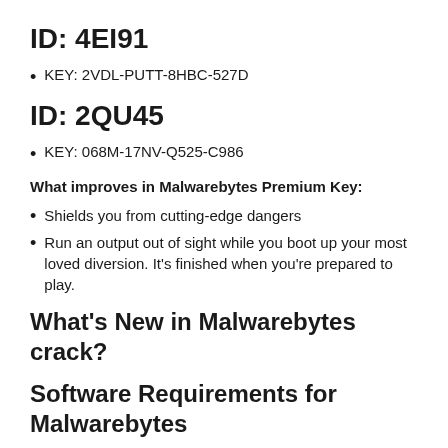ID: 4EI91
KEY: 2VDL-PUTT-8HBC-527D
ID: 2QU45
KEY: 068M-17NV-Q525-C986
What improves in Malwarebytes Premium Key:
Shields you from cutting-edge dangers
Run an output out of sight while you boot up your most loved diversion. It's finished when you're prepared to play.
What's New in Malwarebytes crack?
Software Requirements for Malwarebytes